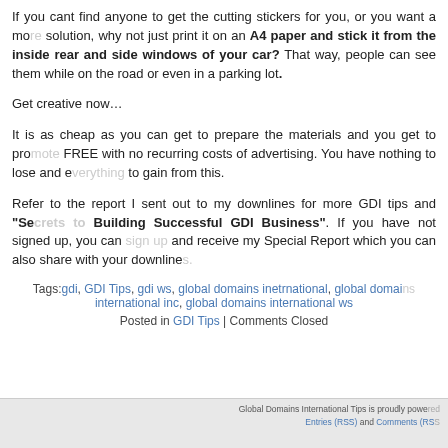If you cant find anyone to get the cutting stickers for you, or you want a more solution, why not just print it on an A4 paper and stick it from the inside rear and side windows of your car? That way, people can see them while on the road or even in a parking lot.
Get creative now…
It is as cheap as you can get to prepare the materials and you get to promote FREE with no recurring costs of advertising. You have nothing to lose and everything to gain from this.
Refer to the report I sent out to my downlines for more GDI tips and "Secrets to Building Successful GDI Business". If you have not signed up, you can and receive my Special Report which you can also share with your downlines.
Tags: gdi, GDI Tips, gdi ws, global domains inetrnational, global domains international inc, global domains international ws
Posted in GDI Tips | Comments Closed
Global Domains International Tips is proudly powered. Entries (RSS) and Comments (RSS)